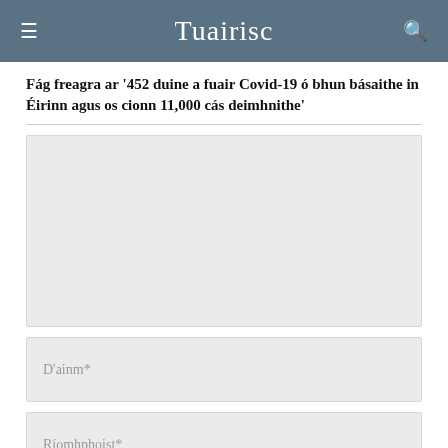Tuairisc
Fág freagra ar '452 duine a fuair Covid-19 ó bhun básaithe in Éirinn agus os cionn 11,000 cás deimhnithe'
[Figure (other): Comment text area input box (empty, light gray background)]
D'ainm*
Ríomhphoist*